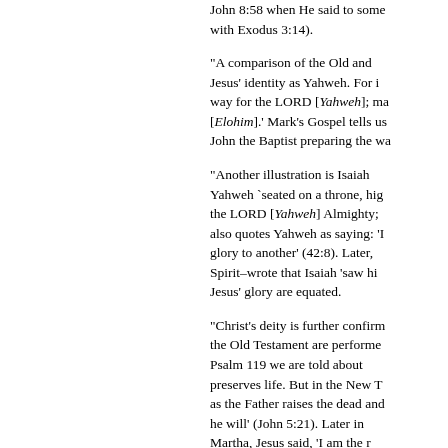John 8:58 when He said to some... with Exodus 3:14).
“A comparison of the Old and Jesus' identity as Yahweh. For i... way for the LORD [Yahweh]; ma... [Elohim].' Mark’s Gospel tells us... John the Baptist preparing the wa...
“Another illustration is Isaiah ... Yahweh `seated on a throne, hig... the LORD [Yahweh] Almighty; t... also quotes Yahweh as saying: ‘I... glory to another’ (42:8). Later, ... Spirit–wrote that Isaiah ‘saw hi... Jesus’ glory are equated.
“Christ’s deity is further confirm... the Old Testament are performe... Psalm 119 we are told about ... preserves life. But in the New T... as the Father raises the dead and... he will’ (John 5:21). Later in ... Martha, Jesus said, ‘I am the r... though he die, yet shall he live... never die’ (John 11:25-26).